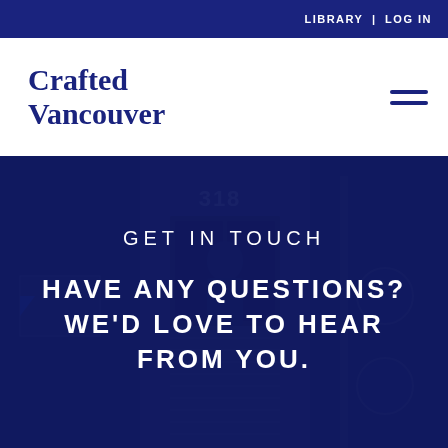LIBRARY | LOG IN
Crafted Vancouver
[Figure (photo): A storefront entrance with the number 318 above the door, a person visible in the doorway, dark blue overlay with text overlaid on the image.]
GET IN TOUCH
HAVE ANY QUESTIONS? WE'D LOVE TO HEAR FROM YOU.